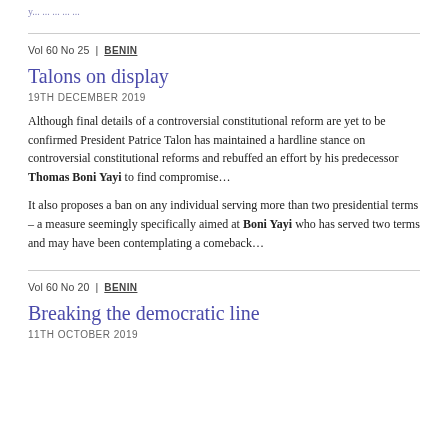...
Vol 60 No 25 | BENIN
Talons on display
19TH DECEMBER 2019
Although final details of a controversial constitutional reform are yet to be confirmed President Patrice Talon has maintained a hardline stance on controversial constitutional reforms and rebuffed an effort by his predecessor Thomas Boni Yayi to find compromise…
It also proposes a ban on any individual serving more than two presidential terms – a measure seemingly specifically aimed at Boni Yayi who has served two terms and may have been contemplating a comeback…
Vol 60 No 20 | BENIN
Breaking the democratic line
11TH OCTOBER 2019